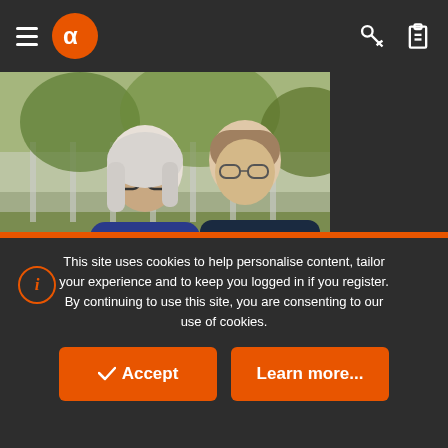Navigation header with hamburger menu, logo, key icon, clipboard icon
[Figure (photo): Two people at an outdoor gathering. A woman with white/grey hair wearing glasses and a floral blue/pink dress leans forward. Behind her, a man in a dark navy polo shirt holds a wine glass. They appear to be on a deck or patio with greenery in the background.]
This site uses cookies to help personalise content, tailor your experience and to keep you logged in if you register. By continuing to use this site, you are consenting to our use of cookies.
✓ Accept
Learn more...